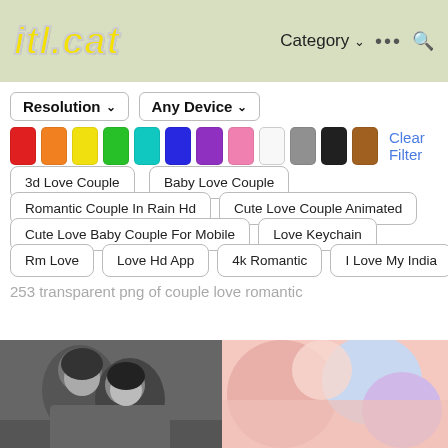itl.cat — Category ··· 🔍
Resolution ∨   Any Device ∨
[Figure (other): Color filter swatches: red, orange, yellow, green, teal, blue, purple, pink, white, gray, black, brown]
Clear Filter
3d Love Couple
Baby Love Couple
Romantic Couple In Rain Hd
Cute Love Couple Animated
Cute Love Baby Couple For Mobile
Love Keychain
Rm Love
Love Hd App
4k Romantic
I Love My India
253 transparent png of couple love romantic
[Figure (photo): Black and white photo of a couple leaning in close, appearing to kiss outdoors]
[Figure (photo): Colorful blurred photo with pink and blue tones, appears to be a decorative love-themed image]